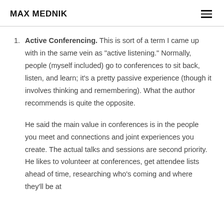MAX MEDNIK
Active Conferencing. This is sort of a term I came up with in the same vein as "active listening." Normally, people (myself included) go to conferences to sit back, listen, and learn; it's a pretty passive experience (though it involves thinking and remembering). What the author recommends is quite the opposite.
He said the main value in conferences is in the people you meet and connections and joint experiences you create. The actual talks and sessions are second priority. He likes to volunteer at conferences, get attendee lists ahead of time, researching who's coming and where they'll be at